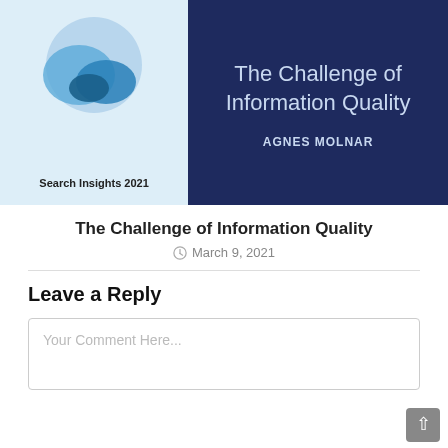[Figure (illustration): Book cover image split in two halves: left side shows light blue background with abstract overlapping circular shapes in blue tones and text 'Search Insights 2021'; right side shows dark navy background with book title 'The Challenge of Information Quality' and author name 'AGNES MOLNAR']
The Challenge of Information Quality
March 9, 2021
Leave a Reply
Your Comment Here...